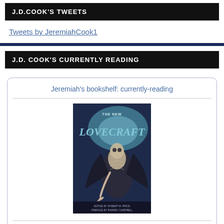J.D.COOK'S TWEETS
Tweets by JeremiahCook1
J.D. COOK'S CURRENTLY READING
Jeremiah's bookshelf: currently-reading
[Figure (photo): Book cover of 'The New Lovecraft Circle' edited by various authors, featuring a dark fantasy/horror illustration of a skeletal winged creature on a blue-purple background.]